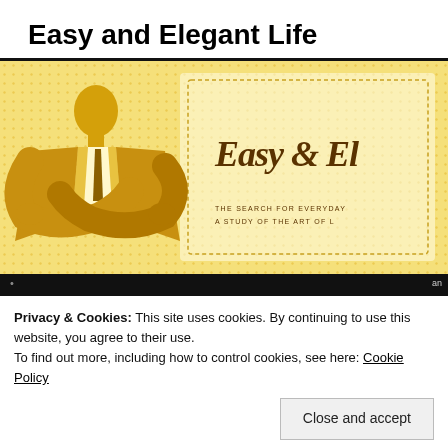Easy and Elegant Life
[Figure (illustration): Website banner for 'Easy & Elegant Life' blog. Features a yellow/gold illustrated man in a suit with arms crossed on the left, decorative dot background, and cursive script text reading 'Easy & El...' on the right side. Tagline reads 'THE SEARCH FOR EVERYDAY / A STUDY OF THE ART OF L...']
Privacy & Cookies: This site uses cookies. By continuing to use this website, you agree to their use.
To find out more, including how to control cookies, see here: Cookie Policy
Close and accept
Make a Good Hanger